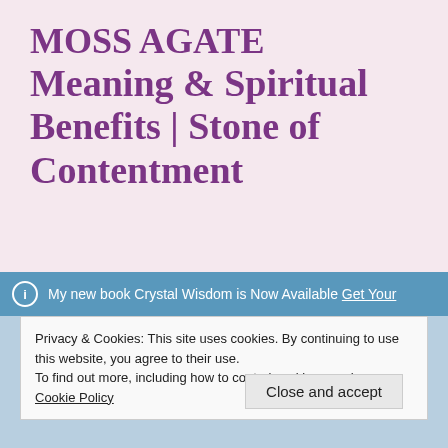MOSS AGATE Meaning & Spiritual Benefits | Stone of Contentment
My new book Crystal Wisdom is Now Available Get Your
Privacy & Cookies: This site uses cookies. By continuing to use this website, you agree to their use. To find out more, including how to control cookies, see here: Cookie Policy
Close and accept